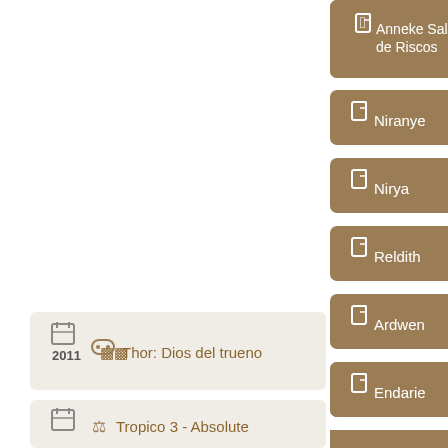[Figure (screenshot): UI screenshot showing a list of character name buttons (brown rounded rectangles) on the right side: Anneke Salldora de Riscos, Niranye, Nirya, Reldith, Ardwen, Endarie, Taarie, La Convocadora, Sif; and on the bottom left two game entries for year 2011: 'Thor: Dios del trueno' and 'Tropico 3 - Absolute', each with icons and brown text.]